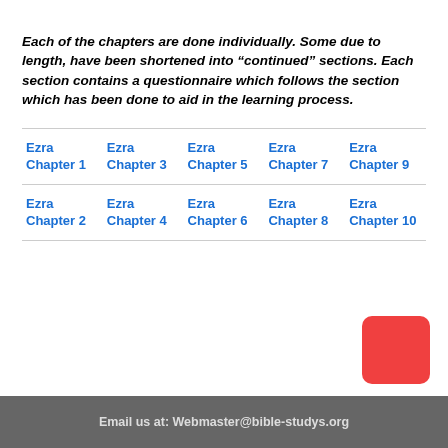Each of the chapters are done individually. Some due to length, have been shortened into “continued” sections. Each section contains a questionnaire which follows the section which has been done to aid in the learning process.
| Ezra Chapter 1 | Ezra Chapter 3 | Ezra Chapter 5 | Ezra Chapter 7 | Ezra Chapter 9 |
| Ezra Chapter 2 | Ezra Chapter 4 | Ezra Chapter 6 | Ezra Chapter 8 | Ezra Chapter 10 |
[Figure (other): Red rounded rectangle button in bottom right corner]
Email us at: Webmaster@bible-studys.org